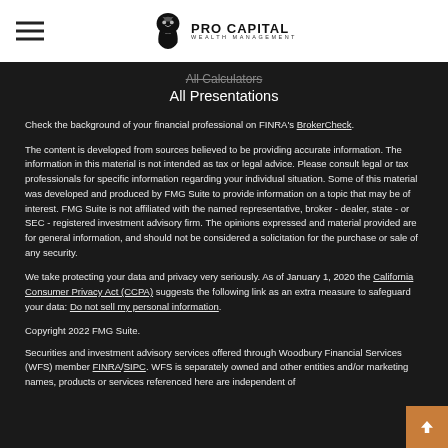[Figure (logo): Pro Capital Wealth Management logo with lion head icon and text]
All Calculators
All Presentations
Check the background of your financial professional on FINRA's BrokerCheck.
The content is developed from sources believed to be providing accurate information. The information in this material is not intended as tax or legal advice. Please consult legal or tax professionals for specific information regarding your individual situation. Some of this material was developed and produced by FMG Suite to provide information on a topic that may be of interest. FMG Suite is not affiliated with the named representative, broker - dealer, state - or SEC - registered investment advisory firm. The opinions expressed and material provided are for general information, and should not be considered a solicitation for the purchase or sale of any security.
We take protecting your data and privacy very seriously. As of January 1, 2020 the California Consumer Privacy Act (CCPA) suggests the following link as an extra measure to safeguard your data: Do not sell my personal information.
Copyright 2022 FMG Suite.
Securities and investment advisory services offered through Woodbury Financial Services (WFS) member FINRA/SIPC. WFS is separately owned and other entities and/or marketing names, products or services referenced here are independent of